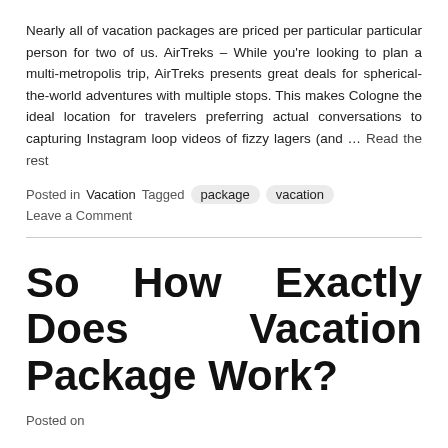Nearly all of vacation packages are priced per particular particular person for two of us. AirTreks – While you're looking to plan a multi-metropolis trip, AirTreks presents great deals for spherical-the-world adventures with multiple stops. This makes Cologne the ideal location for travelers preferring actual conversations to capturing Instagram loop videos of fizzy lagers (and … Read the rest
Posted in Vacation  Tagged  package  vacation
Leave a Comment
So How Exactly Does Vacation Package Work?
Posted on